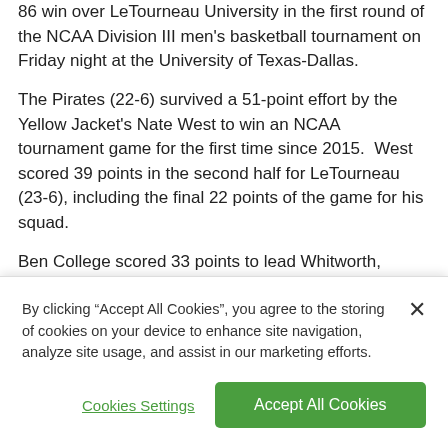86 win over LeTourneau University in the first round of the NCAA Division III men's basketball tournament on Friday night at the University of Texas-Dallas.
The Pirates (22-6) survived a 51-point effort by the Yellow Jacket's Nate West to win an NCAA tournament game for the first time since 2015.  West scored 39 points in the second half for LeTourneau (23-6), including the final 22 points of the game for his squad.
Ben College scored 33 points to lead Whitworth, helping the Pirates build 15-point leads in each half.
By clicking “Accept All Cookies”, you agree to the storing of cookies on your device to enhance site navigation, analyze site usage, and assist in our marketing efforts.